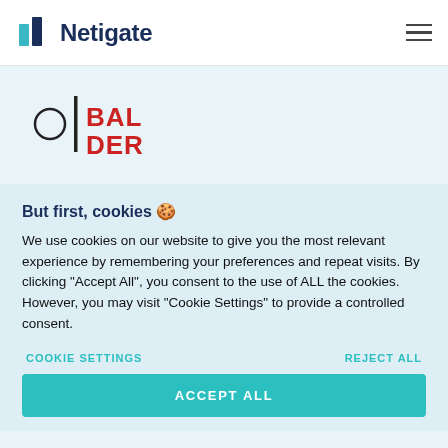Netigate
[Figure (logo): Balder logo with circle and vertical bar followed by red text BAL DER]
But first, cookies 🍪
We use cookies on our website to give you the most relevant experience by remembering your preferences and repeat visits. By clicking "Accept All", you consent to the use of ALL the cookies. However, you may visit "Cookie Settings" to provide a controlled consent.
COOKIE SETTINGS
REJECT ALL
ACCEPT ALL